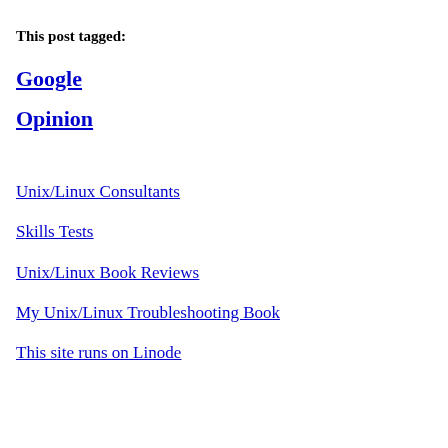This post tagged:
Google
Opinion
Unix/Linux Consultants
Skills Tests
Unix/Linux Book Reviews
My Unix/Linux Troubleshooting Book
This site runs on Linode